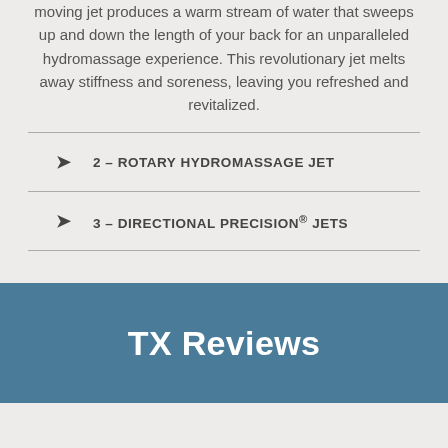moving jet produces a warm stream of water that sweeps up and down the length of your back for an unparalleled hydromassage experience. This revolutionary jet melts away stiffness and soreness, leaving you refreshed and revitalized.
2 – ROTARY HYDROMASSAGE JET
3 – DIRECTIONAL PRECISION® JETS
TX Reviews